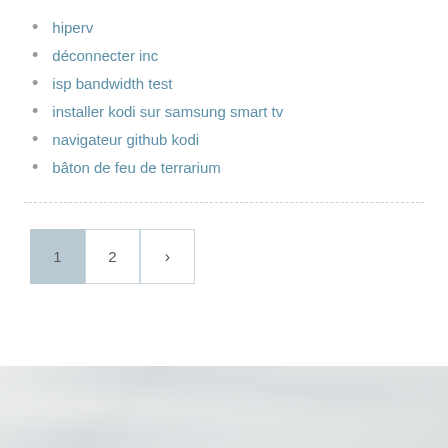hiperv
déconnecter inc
isp bandwidth test
installer kodi sur samsung smart tv
navigateur github kodi
bâton de feu de terrarium
[Figure (other): Pagination controls showing page 1 (active/highlighted), page 2, and a next arrow button]
[Figure (photo): Bottom strip showing a light grey textured background image, partially visible]